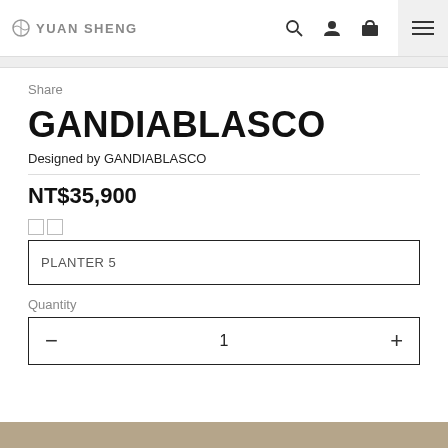YUAN SHENG
Share
GANDIABLASCO
Designed by GANDIABLASCO
NT$35,900
PLANTER 5
Quantity
1